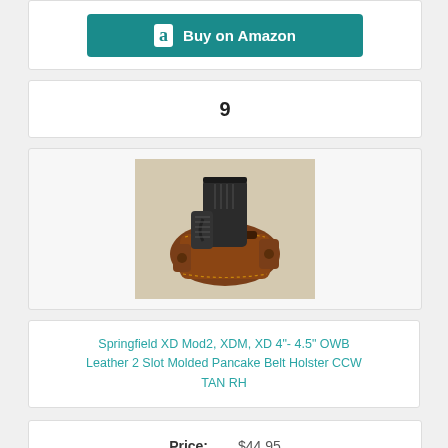Buy on Amazon
9
[Figure (photo): Brown leather OWB pancake belt holster with a black semi-automatic pistol inserted, viewed from above on a light background.]
Springfield XD Mod2, XDM, XD 4"- 4.5" OWB Leather 2 Slot Molded Pancake Belt Holster CCW TAN RH
Price: $44.95